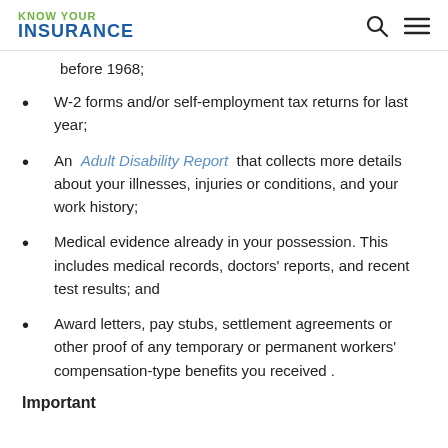KNOW YOUR INSURANCE
before 1968;
W-2 forms and/or self-employment tax returns for last year;
An Adult Disability Report that collects more details about your illnesses, injuries or conditions, and your work history;
Medical evidence already in your possession. This includes medical records, doctors' reports, and recent test results; and
Award letters, pay stubs, settlement agreements or other proof of any temporary or permanent workers' compensation-type benefits you received .
Important